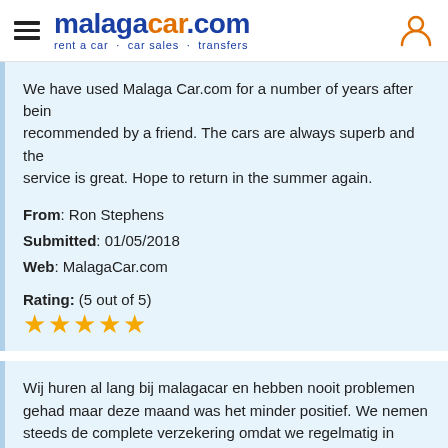malagacar.com — rent a car · car sales · transfers
We have used Malaga Car.com for a number of years after being recommended by a friend. The cars are always superb and the service is great. Hope to return in the summer again.
From: Ron Stephens
Submitted: 01/05/2018
Web: MalagaCar.com

Rating: (5 out of 5)
★★★★★
Wij huren al lang bij malagacar en hebben nooit problemen gehad maar deze maand was het minder positief. We nemen steeds de complete verzekering omdat we regelmatig in Andalusie rondrijden en er een vakantiewoning hebben. Helaas zijn we deze keer bestolen geweest, alles is uit de huurauto